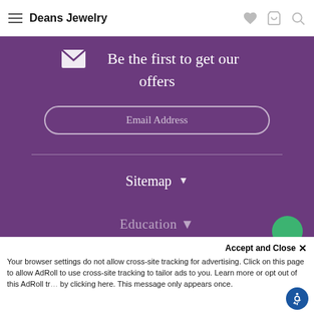Deans Jewelry
Be the first to get our offers
Email Address
Sitemap
Education
Accept and Close ×
Your browser settings do not allow cross-site tracking for advertising. Click on this page to allow AdRoll to use cross-site tracking to tailor ads to you. Learn more or opt out of this AdRoll tracking by clicking here. This message only appears once.